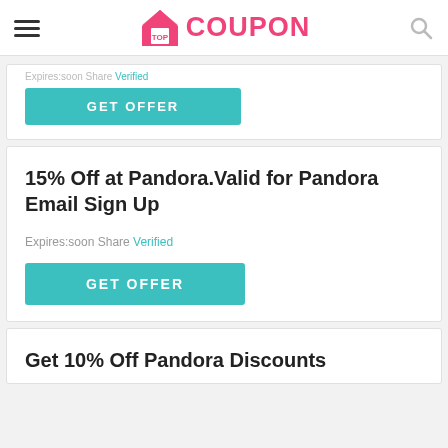TOP COUPON
Expires:soon Share Verified
GET OFFER
15% Off at Pandora.Valid for Pandora Email Sign Up
Expires:soon Share Verified
GET OFFER
Get 10% Off Pandora Discounts